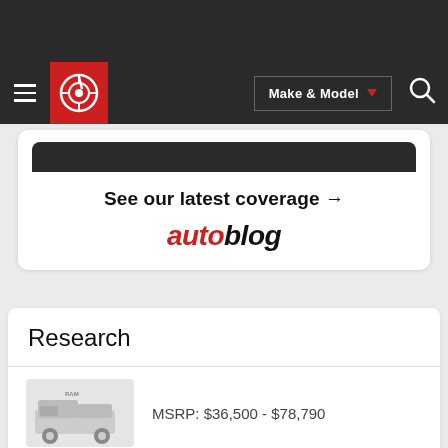[Figure (screenshot): Dark top banner area of a website]
Make & Model navigation bar with hamburger menu, Checkered flag logo, Make & Model dropdown, and search icon
[Figure (screenshot): Autoblog promotional card with 'See our latest coverage' text and Autoblog logo]
See our latest coverage →
[Figure (logo): Autoblog logo in red and black italic text]
Research
MSRP: $36,500 - $78,790
MSRP: $20,995 - $26,860